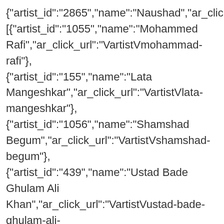{"artist_id":"2865","name":"Naushad","ar_click_url":"VartistVnaus [{"artist_id":"1055","name":"Mohammed Rafi","ar_click_url":"VartistVmohammad-rafi"}, {"artist_id":"155","name":"Lata Mangeshkar","ar_click_url":"VartistVlata-mangeshkar"}, {"artist_id":"1056","name":"Shamshad Begum","ar_click_url":"VartistVshamshad-begum"}, {"artist_id":"439","name":"Ustad Bade Ghulam Ali Khan","ar_click_url":"VartistVustad-bade-ghulam-ali-khan"}],"premium_content":"0","release_date":"Dec 31, 1959","duration":"01:04:59","language":"Hindi","is_premium":nu {"title":"Pyar Kiya To Darna Kya","atw":"https:VVa10.gaanacdn.comVgn_imgValbumsV7rVW {"medium":